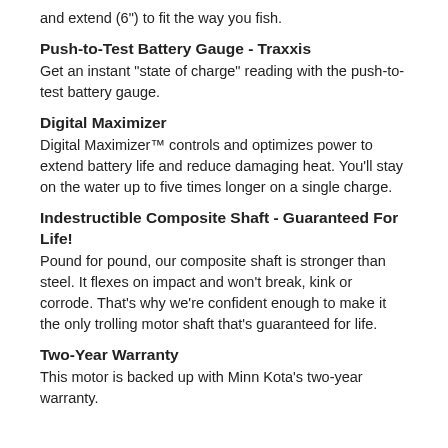and extend (6") to fit the way you fish.
Push-to-Test Battery Gauge - Traxxis
Get an instant "state of charge" reading with the push-to-test battery gauge.
Digital Maximizer
Digital Maximizer™ controls and optimizes power to extend battery life and reduce damaging heat. You'll stay on the water up to five times longer on a single charge.
Indestructible Composite Shaft - Guaranteed For Life!
Pound for pound, our composite shaft is stronger than steel. It flexes on impact and won't break, kink or corrode. That's why we're confident enough to make it the only trolling motor shaft that's guaranteed for life.
Two-Year Warranty
This motor is backed up with Minn Kota's two-year warranty.